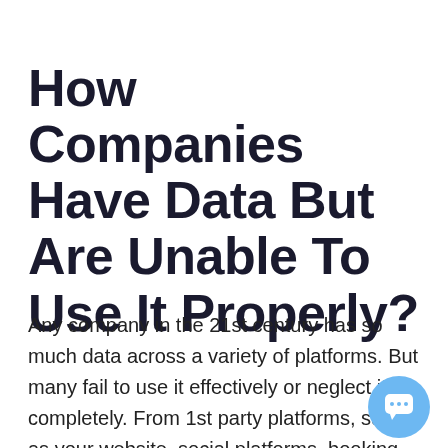How Companies Have Data But Are Unable To Use It Properly?
Any company in the 21st century has so much data across a variety of platforms. But many fail to use it effectively or neglect it completely. From 1st party platforms, such as your website, social platforms, booking systems, and analytical tools. They all p[roduce] massive amounts of data. Oh, and that's not to